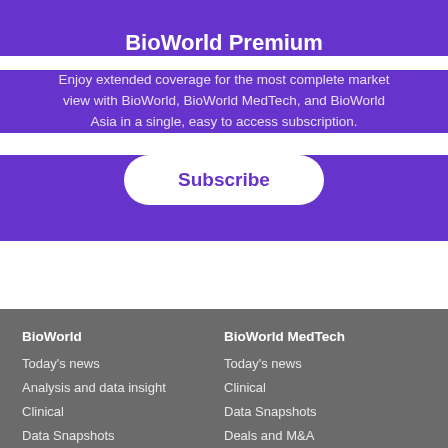BioWorld Premium
Enjoy extended coverage for the most complete market view with BioWorld, BioWorld MedTech, and BioWorld Asia in a single, easy to access subscription.
Subscribe
BioWorld
Today's news
Analysis and data insight
Clinical
Data Snapshots
BioWorld MedTech
Today's news
Clinical
Data Snapshots
Deals and M&A